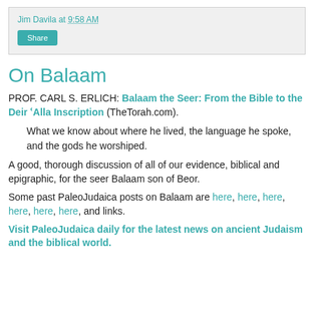Jim Davila at 9:58 AM
On Balaam
PROF. CARL S. ERLICH: Balaam the Seer: From the Bible to the Deir ʿAlla Inscription (TheTorah.com).
What we know about where he lived, the language he spoke, and the gods he worshiped.
A good, thorough discussion of all of our evidence, biblical and epigraphic, for the seer Balaam son of Beor.
Some past PaleoJudaica posts on Balaam are here, here, here, here, here, here, and links.
Visit PaleoJudaica daily for the latest news on ancient Judaism and the biblical world.